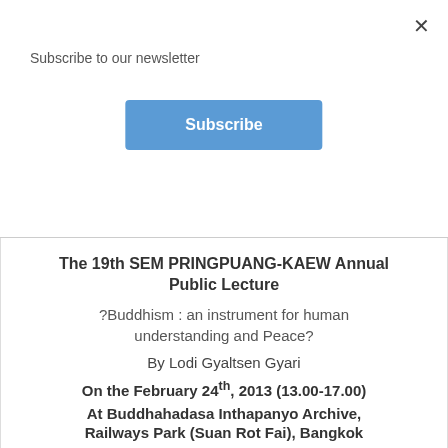Subscribe to our newsletter
Subscribe
The 19th SEM PRINGPUANG-KAEW Annual Public Lecture
?Buddhism : an instrument for human understanding and Peace?
By Lodi Gyaltsen Gyari
On the February 24th, 2013 (13.00-17.00)
At Buddhahadasa Inthapanyo Archive,
Railways Park (Suan Rot Fai), Bangkok
13.00-13.30     Registration